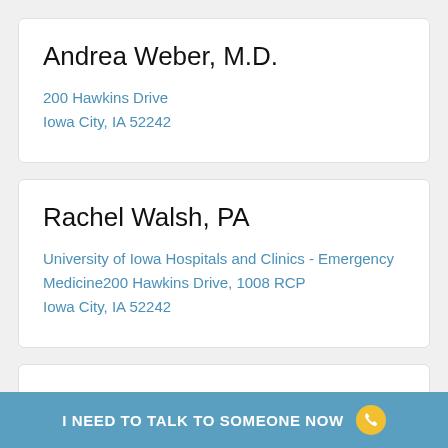Andrea Weber, M.D.
200 Hawkins Drive
Iowa City, IA 52242
Rachel Walsh, PA
University of Iowa Hospitals and Clinics - Emergency Medicine200 Hawkins Drive, 1008 RCP
Iowa City, IA 52242
Nicholas Trapp, M.D.
I NEED TO TALK TO SOMEONE NOW